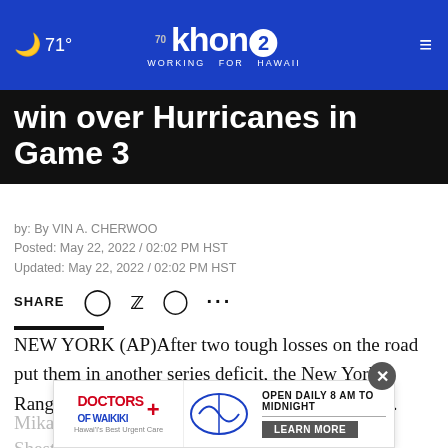71° khon2 WORKING FOR HAWAII
win over Hurricanes in Game 3
by: By VIN A. CHERWOO
Posted: May 22, 2022 / 02:02 PM HST
Updated: May 22, 2022 / 02:02 PM HST
SHARE
NEW YORK (AP)After two tough losses on the road put them in another series deficit, the New York Rangers again bounced back with a big home win.
Mika Z...
Shesterkin stopped 45 shots, and the Rangers beat